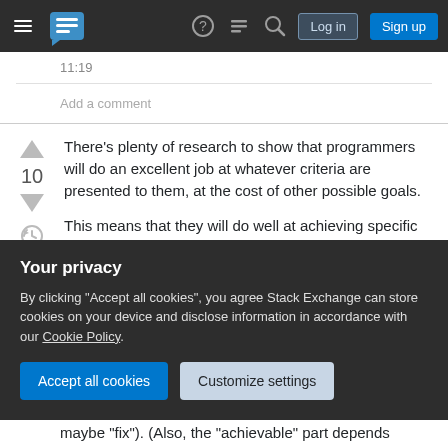Stack Exchange navigation bar with Log in and Sign up buttons
11:19
Add a comment
There's plenty of research to show that programmers will do an excellent job at whatever criteria are presented to them, at the cost of other possible goals.
This means that they will do well at achieving specific and measurable goals, and less well at anything not specifically listed. That means you
Your privacy
By clicking "Accept all cookies", you agree Stack Exchange can store cookies on your device and disclose information in accordance with our Cookie Policy.
maybe "fix"). (Also, the "achievable" part depends